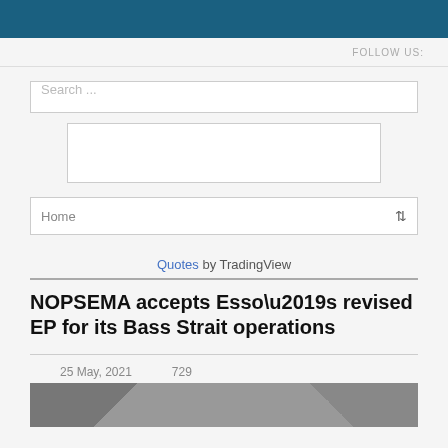FOLLOW US:
Search ...
[Figure (other): Empty widget box placeholder]
Home
Quotes by TradingView
NOPSEMA accepts Esso’s revised EP for its Bass Strait operations
25 May, 2021   729
[Figure (photo): Partial article thumbnail image at bottom of page]